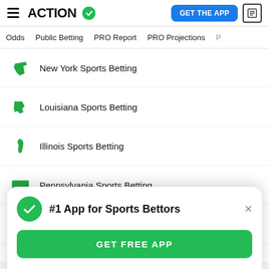ACTION (logo with checkmark) | GET THE APP | News icon
Odds | Public Betting | PRO Report | PRO Projections
New York Sports Betting
Louisiana Sports Betting
Illinois Sports Betting
Pennsylvania Sports Betting
Colorado Sports Betting
#1 App for Sports Bettors
GET FREE APP